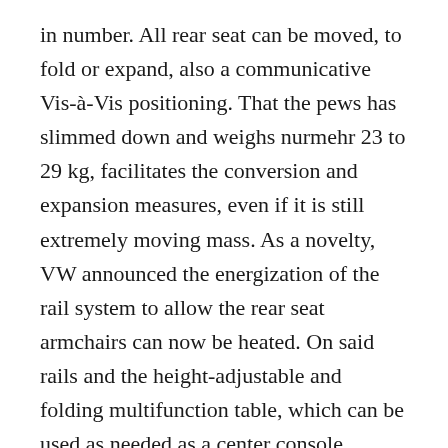in number. All rear seat can be moved, to fold or expand, also a communicative Vis-à-Vis positioning. That the pews has slimmed down and weighs nurmehr 23 to 29 kg, facilitates the conversion and expansion measures, even if it is still extremely moving mass. As a novelty, VW announced the energization of the rail system to allow the rear seat armchairs can now be heated. On said rails and the height-adjustable and folding multifunction table, which can be used as needed as a center console between the front seats or moved backward running.
Good Night Package
The many customers have wanted: The seats have